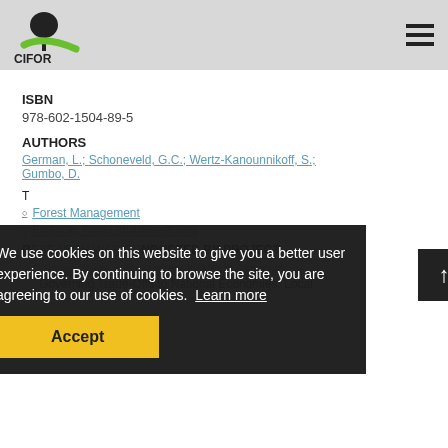CIFOR
ISBN
978-602-1504-89-5
AUTHORS
German, L.; Schoneveld, G.C.; Wertz-Kanounnikoff, S.; Gumbo, D.
THEMES
Forest Management
Finance, Trade and Investment
RESEARCH WAS CONDUCTED BY PROJECT
Chinese Trade & Investment in Africa: Assessing Governing Trade-Offs to National Economies, Local
We use cookies on this website to give you a better user experience. By continuing to browse the site, you are agreeing to our use of cookies. Learn more
Accept